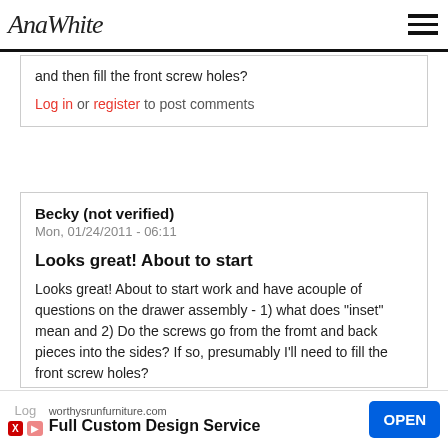AnaWhite
and then fill the front screw holes?
Log in or register to post comments
Becky (not verified)
Mon, 01/24/2011 - 06:11
Looks great! About to start
Looks great! About to start work and have acouple of questions on the drawer assembly - 1) what does "inset" mean and 2) Do the screws go from the fromt and back pieces into the sides? If so, presumably I'll need to fill the front screw holes?
Log
worthysrunfurniture.com Full Custom Design Service OPEN